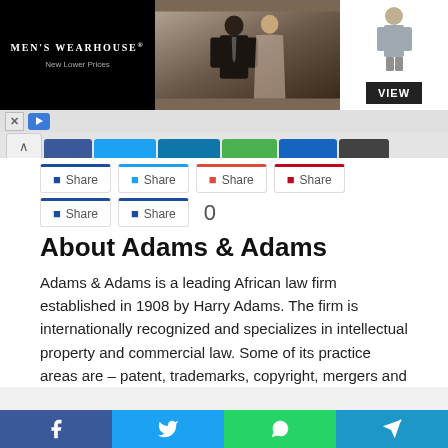[Figure (screenshot): Men's Wearhouse advertisement banner showing a couple in formal wear and a child in a suit with a VIEW button]
Share Share Share Share Share Share 0
About Adams & Adams
Adams & Adams is a leading African law firm established in 1908 by Harry Adams. The firm is internationally recognized and specializes in intellectual property and commercial law. Some of its practice areas are – patent, trademarks, copyright, mergers and